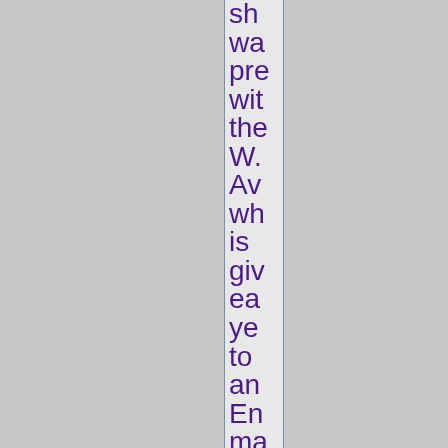sh wa pre wit the W. Av wh is giv ea ye to an En ma or ho st